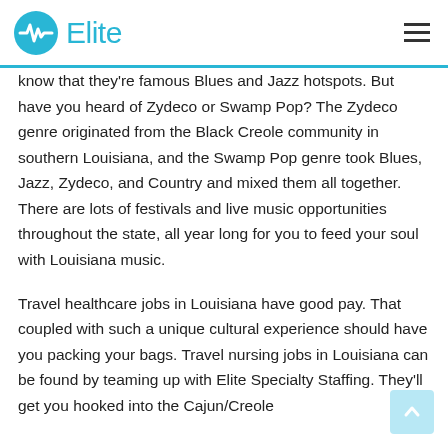Elite
know that they're famous Blues and Jazz hotspots. But have you heard of Zydeco or Swamp Pop? The Zydeco genre originated from the Black Creole community in southern Louisiana, and the Swamp Pop genre took Blues, Jazz, Zydeco, and Country and mixed them all together. There are lots of festivals and live music opportunities throughout the state, all year long for you to feed your soul with Louisiana music.
Travel healthcare jobs in Louisiana have good pay. That coupled with such a unique cultural experience should have you packing your bags. Travel nursing jobs in Louisiana can be found by teaming up with Elite Specialty Staffing. They'll get you hooked into the Cajun/Creole